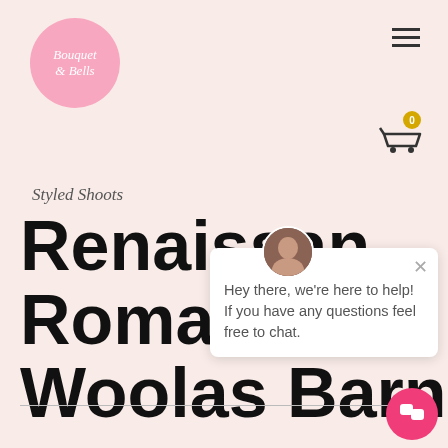[Figure (logo): Pink circle logo with script text 'Bouquet & Bells']
[Figure (other): Hamburger menu icon (three horizontal lines)]
[Figure (other): Shopping cart icon with badge showing 0]
Styled Shoots
Renaissance Romance Woolas Barn
[Figure (other): Chat popup with avatar photo, close X button, and message: Hey there, we're here to help! If you have any questions feel free to chat.]
[Figure (other): Pink circular chat launcher button at bottom right]